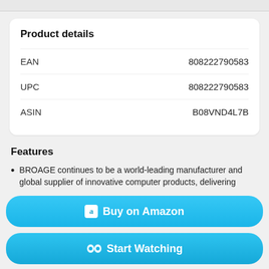Product details
| Field | Value |
| --- | --- |
| EAN | 808222790583 |
| UPC | 808222790583 |
| ASIN | B08VND4L7B |
Features
BROAGE continues to be a world-leading manufacturer and global supplier of innovative computer products, delivering